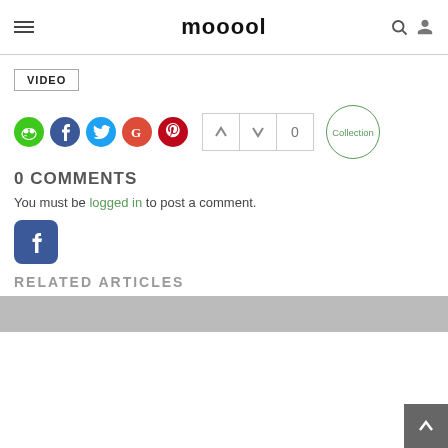mooool
VIDEO
[Figure (infographic): Social share icons (WeChat, Facebook, Twitter, Google, Pinterest) and vote buttons (up arrow, down arrow, count 0) and Collection circle button]
0 COMMENTS
You must be logged in to post a comment.
[Figure (logo): Facebook login button (blue square with f icon)]
RELATED ARTICLES
[Figure (photo): Gray placeholder image for related articles]